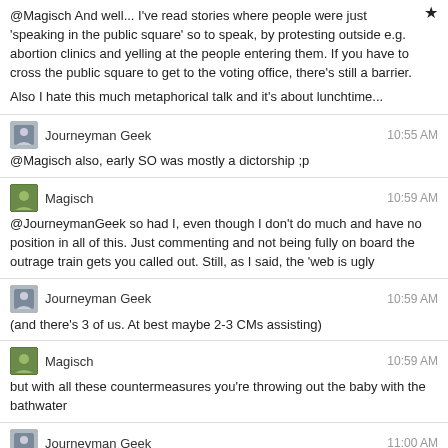@Magisch And well... I've read stories where people were just 'speaking in the public square' so to speak, by protesting outside e.g. abortion clinics and yelling at the people entering them. If you have to cross the public square to get to the voting office, there's still a barrier.
Also I hate this much metaphorical talk and it's about lunchtime...
Journeyman Geek 10:55 AM
@Magisch also, early SO was mostly a dictorship ;p
Magisch 10:59 AM
@JourneymanGeek so had I, even though I don't do much and have no position in all of this. Just commenting and not being fully on board the outrage train gets you called out. Still, as I said, the 'web is ugly
Journeyman Geek 10:59 AM
(and there's 3 of us. At best maybe 2-3 CMs assisting)
Magisch 10:59 AM
but with all these countermeasures you're throwing out the baby with the bathwater
Journeyman Geek 11:00 AM
@Magisch right, so....
we have folks involved in open and close wars
comment threads are long, ugly and we can't really keep track of all of it
Democracy is nice. We'd love for folks to handle stuff like grownups
but...
> Just commenting and not being fully on board the outrage train gets you called out.
this isn't right